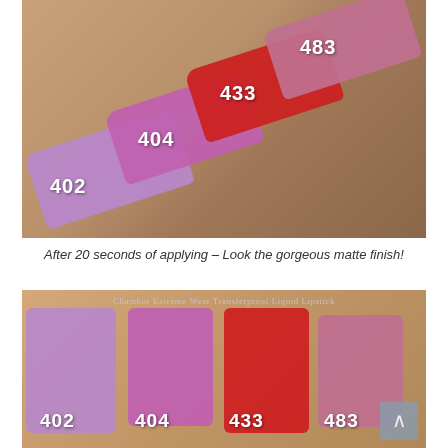[Figure (photo): Close-up photo of a forearm with four lipstick swatches applied diagonally. Swatches are labeled 402 (light purple/mauve), 404 (medium purple/magenta), 433 (bright red), and 483 (dusty rose/pink). Labels are written in white bold text on each swatch.]
After 20 seconds of applying – Look the gorgeous matte finish!
[Figure (photo): Close-up photo showing four lipstick swatches side by side on skin. From left to right: 402 (light purple/mauve), 404 (medium purple/magenta), 433 (bright red), 483 (dusty rose). Watermark reads 'Chambor Extreme Wear Transferproof Liquid Lipstick'. A scroll-to-top button is visible in the bottom right corner.]